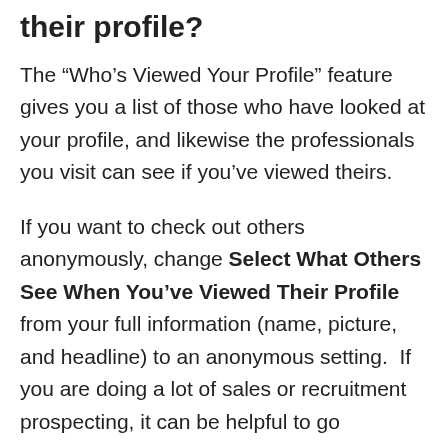their profile?
The “Who’s Viewed Your Profile” feature gives you a list of those who have looked at your profile, and likewise the professionals you visit can see if you’ve viewed theirs.
If you want to check out others anonymously, change Select What Others See When You’ve Viewed Their Profile from your full information (name, picture, and headline) to an anonymous setting.  If you are doing a lot of sales or recruitment prospecting, it can be helpful to go anonymous.